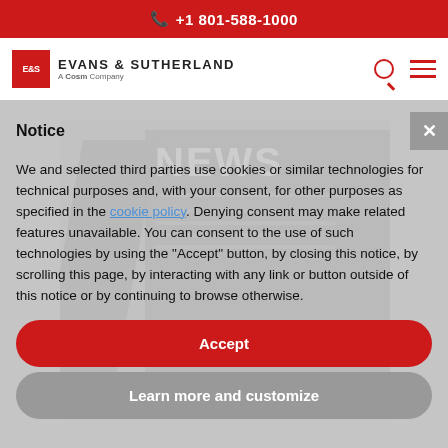+1 801-588-1000
[Figure (logo): Evans & Sutherland logo with E&S red square and text 'A Cosm Company']
Notice
We and selected third parties use cookies or similar technologies for technical purposes and, with your consent, for other purposes as specified in the cookie policy. Denying consent may make related features unavailable. You can consent to the use of such technologies by using the "Accept" button, by closing this notice, by scrolling this page, by interacting with any link or button outside of this notice or by continuing to browse otherwise.
Accept
Learn more and customize